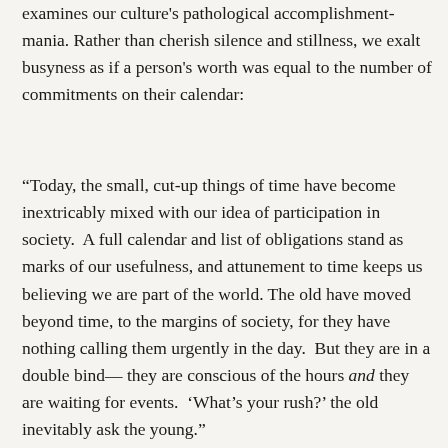examines our culture's pathological accomplishment-mania. Rather than cherish silence and stillness, we exalt busyness as if a person's worth was equal to the number of commitments on their calendar:
“Today, the small, cut-up things of time have become inextricably mixed with our idea of participation in society. A full calendar and list of obligations stand as marks of our usefulness, and attunement to time keeps us believing we are part of the world. The old have moved beyond time, to the margins of society, for they have nothing calling them urgently in the day. But they are in a double bind— they are conscious of the hours and they are waiting for events. ‘What’s your rush?’ the old inevitably ask the young.”